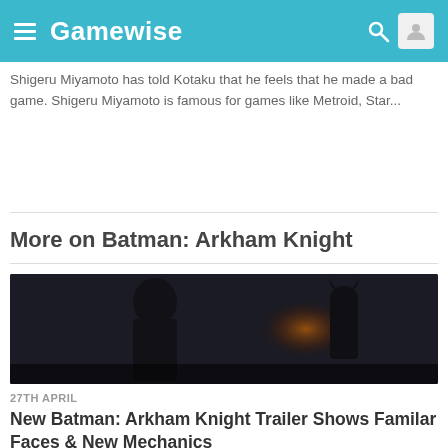Gamewise
Shigeru Miyamoto has told Kotaku that he feels that he made a bad game. Shigeru Miyamoto is famous for games like Metroid, Star...
More on Batman: Arkham Knight
[Figure (photo): Dark cinematic screenshot from Batman: Arkham Knight showing two silhouetted figures in a moody, dimly lit urban environment with orange fire glow in the background]
27TH APRIL
New Batman: Arkham Knight Trailer Shows Familar Faces & New Mechanics